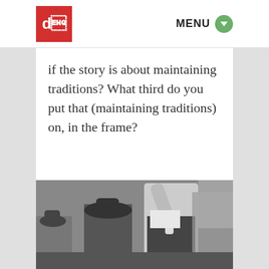db | MENU
if the story is about maintaining traditions? What third do you put that (maintaining traditions) on, in the frame?
[Figure (photo): Black and white photograph showing people in traditional dress, with hats, one figure raising their arm, in an indoor setting]